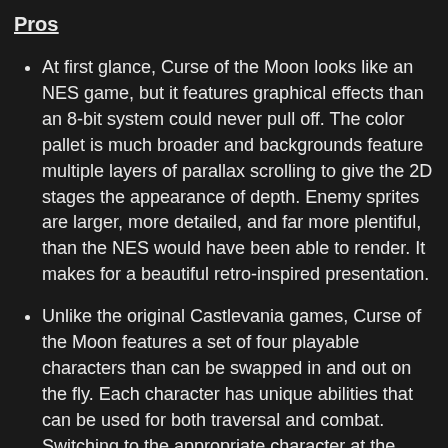Pros
At first glance, Curse of the Moon looks like an NES game, but it features graphical effects than an 8-bit system could never pull off. The color pallet is much broader and backgrounds feature multiple layers of parallax scrolling to give the 2D stages the appearance of depth. Enemy sprites are larger, more detailed, and far more plentiful, than the NES would have been able to render. It makes for a beautiful retro-inspired presentation.
Unlike the original Castlevania games, Curse of the Moon features a set of four playable characters than can be swapped in and out on the fly. Each character has unique abilities that can be used for both traversal and combat. Switching to the appropriate character at the right time can provide access to shortcuts through levels and have a substantial effect on the difficulty of boss battles.
Curse of the Moon's difficulty is much more forgiving